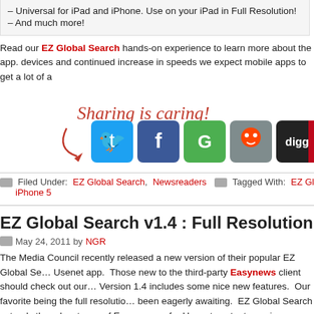– Universal for iPad and iPhone. Use on your iPad in Full Resolution!
– And much more!
Read our EZ Global Search hands-on experience to learn more about the app. devices and continued increase in speeds we expect mobile apps to get a lot of a
[Figure (infographic): Sharing is caring! text with arrow and social media icons: Twitter, Facebook, Google+, Reddit, Digg, Pinterest, and one more partially visible]
Filed Under: EZ Global Search, Newsreaders Tagged With: EZ Global S... iPhone 5
EZ Global Search v1.4 : Full Resolution iPad Supp
May 24, 2011 by NGR
The Media Council recently released a new version of their popular EZ Global Se... Usenet app. Those new to the third-party Easynews client should check out our... Version 1.4 includes some nice new features. Our favorite being the full resolutio... been eagerly awaiting. EZ Global Search extends the advantages of Easynews... for Usenet content, preview, stream and add downloads to Easynews Zip Mana...